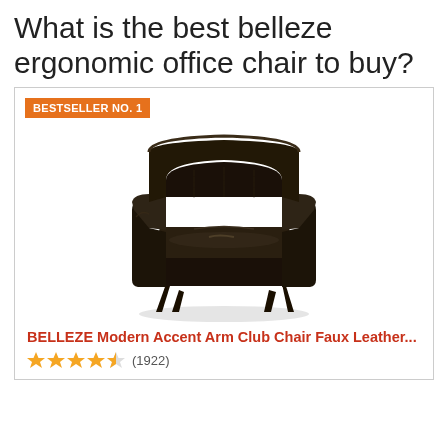What is the best belleze ergonomic office chair to buy?
[Figure (photo): Black faux leather accent arm club chair with wooden legs and tufted barrel back, shown on white background. Badge reads BESTSELLER NO. 1.]
BELLEZE Modern Accent Arm Club Chair Faux Leather...
★★★★½ (1922)